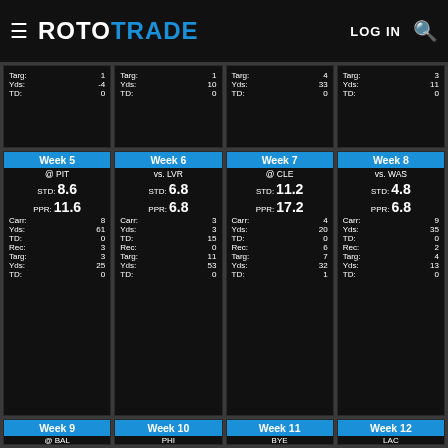ROTOTRADE
| Week 5 @ PIT | Week 6 vs. LVR | Week 7 @ CLE | Week 8 vs. WAS |
| --- | --- | --- | --- |
| STD: 8.6 | STD: 6.8 | STD: 11.2 | STD: 4.8 |
| PPR: 11.6 | PPR: 6.8 | PPR: 17.2 | PPR: 6.8 |
| Carr: 8 | Carr: 3 | Carr: 4 | Carr: 9 |
| Yds: 61 | Yds: 3 | Yds: 20 | Yds: 35 |
| TD: 0 | TD: 15 | TD: 0 | TD: 0 |
| Rec: 3 | Rec: 0 | Rec: 6 | Rec: 2 |
| Targ: 3 | Targ: 11 | Targ: 7 | Targ: 4 |
| Yds: 25 | Yds: 53 | Yds: 32 | Yds: 13 |
| TD: 0 | TD: 0 | TD: 1 | TD: 0 |
Week 9, Week 10, Week 11, Week 12 (partial)